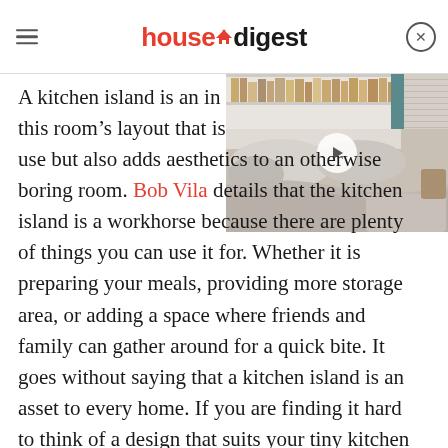housedigest
[Figure (photo): A cozy bedroom with white built-in bookshelves filled with books above the headboard, beige/neutral bedding and pillows, with a play button overlay indicating a video thumbnail.]
A kitchen island is an ind[ispensable part of] this room's layout that is [not only practical to] use but also adds aesthetics to an otherwise boring room. Bob Vila details that the kitchen island is a workhorse because there are plenty of things you can use it for. Whether it is preparing your meals, providing more storage area, or adding a space where friends and family can gather around for a quick bite. It goes without saying that a kitchen island is an asset to every home. If you are finding it hard to think of a design that suits your tiny kitchen